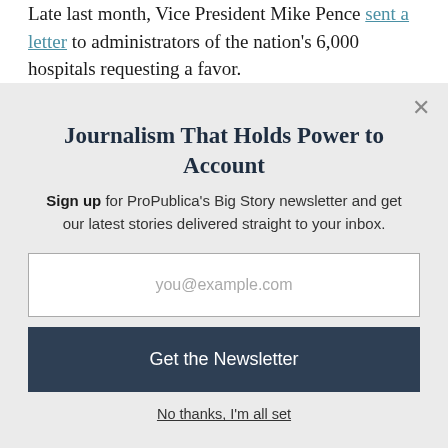Late last month, Vice President Mike Pence sent a letter to administrators of the nation's 6,000 hospitals requesting a favor.
Journalism That Holds Power to Account
Sign up for ProPublica's Big Story newsletter and get our latest stories delivered straight to your inbox.
you@example.com
Get the Newsletter
No thanks, I'm all set
This site is protected by reCAPTCHA and the Google Privacy Policy and Terms of Service apply.